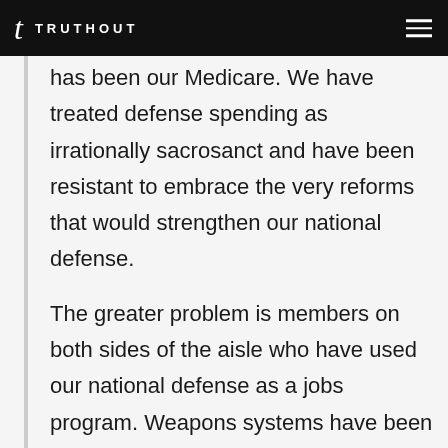TRUTHOUT
has been our Medicare. We have treated defense spending as irrationally sacrosanct and have been resistant to embrace the very reforms that would strengthen our national defense.
The greater problem is members on both sides of the aisle who have used our national defense as a jobs program. Weapons systems have been spread out to numerous congressional districts to protect